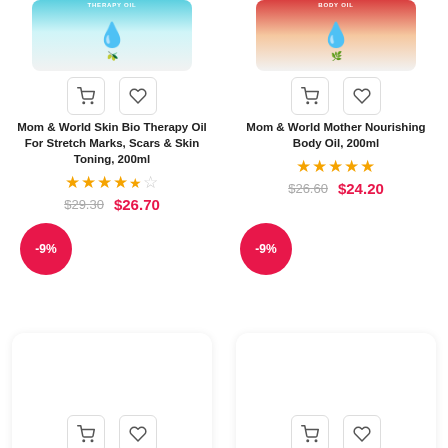[Figure (photo): Mom & World Skin Bio Therapy Oil product image with shopping cart and wishlist icons]
[Figure (photo): Mom & World Mother Nourishing Body Oil product image with shopping cart and wishlist icons]
Mom & World Skin Bio Therapy Oil For Stretch Marks, Scars & Skin Toning, 200ml
Mom & World Mother Nourishing Body Oil, 200ml
★★★★½ rating
★★★★★ rating
$29.30  $26.70
$26.60  $24.20
-9%
-9%
[Figure (photo): Man Arden Caffeine Series product image with cart and wishlist icons]
[Figure (photo): Man Arden I am Romantic product image with cart and wishlist icons]
Man Arden Caffeine Series Arden Coffee Body Scrub, 55 m...
Man Arden I am Romantic Fragrance Body Wash, 275 m...